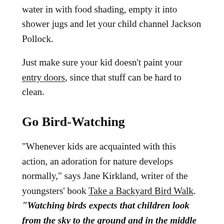water in with food shading, empty it into shower jugs and let your child channel Jackson Pollock.
Just make sure your kid doesn't paint your entry doors, since that stuff can be hard to clean.
Go Bird-Watching
“Whenever kids are acquainted with this action, an adoration for nature develops normally,” says Jane Kirkland, writer of the youngsters’ book Take a Backyard Bird Walk. “Watching birds expects that children look from the sky to the ground and in the middle between.” Get to know the birds in your district.
The following time you head outside with your kid,